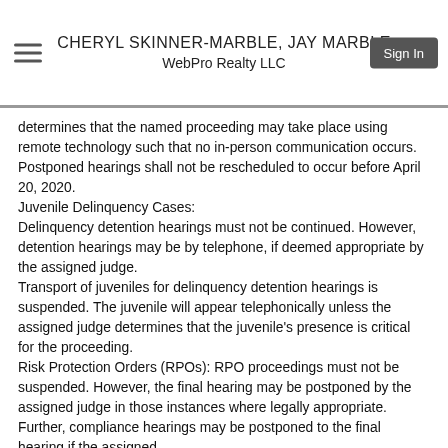CHERYL SKINNER-MARBLE, JAY MARBLE
WebPro Realty LLC
determines that the named proceeding may take place using remote technology such that no in-person communication occurs. Postponed hearings shall not be rescheduled to occur before April 20, 2020.
Juvenile Delinquency Cases:
Delinquency detention hearings must not be continued. However, detention hearings may be by telephone, if deemed appropriate by the assigned judge.
Transport of juveniles for delinquency detention hearings is suspended. The juvenile will appear telephonically unless the assigned judge determines that the juvenile's presence is critical for the proceeding.
Risk Protection Orders (RPOs): RPO proceedings must not be suspended. However, the final hearing may be postponed by the assigned judge in those instances where legally appropriate. Further, compliance hearings may be postponed to the final hearing if the assigned